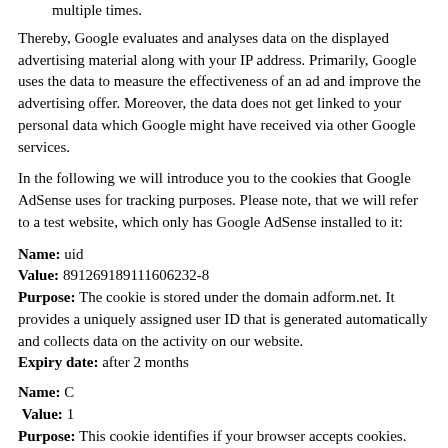multiple times.
Thereby, Google evaluates and analyses data on the displayed advertising material along with your IP address. Primarily, Google uses the data to measure the effectiveness of an ad and improve the advertising offer. Moreover, the data does not get linked to your personal data which Google might have received via other Google services.
In the following we will introduce you to the cookies that Google AdSense uses for tracking purposes. Please note, that we will refer to a test website, which only has Google AdSense installed to it:
Name: uid
Value: 891269189111606232-8
Purpose: The cookie is stored under the domain adform.net. It provides a uniquely assigned user ID that is generated automatically and collects data on the activity on our website.
Expiry date: after 2 months
Name: C
Value: 1
Purpose: This cookie identifies if your browser accepts cookies. The cookie is stored under the domain track.adform.net.
Expiry date: after 1 month